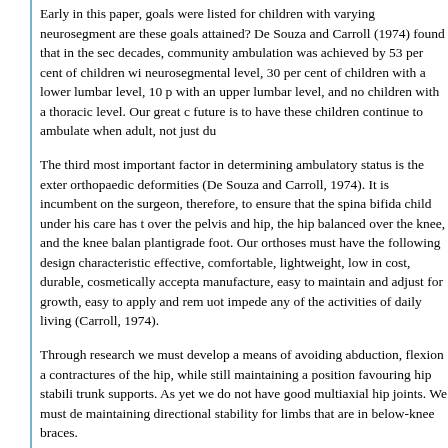Early in this paper, goals were listed for children with varying neurosegmental levels. How are these goals attained? De Souza and Carroll (1974) found that in the second and third decades, community ambulation was achieved by 53 per cent of children with a sacral neurosegmental level, 30 per cent of children with a lower lumbar level, 10 per cent of children with an upper lumbar level, and no children with a thoracic level. Our great challenge for the future is to have these children continue to ambulate when adult, not just during childhood.
The third most important factor in determining ambulatory status is the extent of orthopaedic deformities (De Souza and Carroll, 1974). It is incumbent on the orthopaedic surgeon, therefore, to ensure that the spina bifida child under his care has the trunk balanced over the pelvis and hip, the hip balanced over the knee, and the knee balanced over a plantigrade foot. Our orthoses must have the following design characteristics: they must be effective, comfortable, lightweight, low in cost, durable, cosmetically acceptable, easy to manufacture, easy to maintain and adjust for growth, easy to apply and remove, and must not impede any of the activities of daily living (Carroll, 1974).
Through research we must develop a means of avoiding abduction, flexion and external rotation contractures of the hip, while still maintaining a position favouring hip stability and improving trunk supports. As yet we do not have good multiaxial hip joints. We must develop means of maintaining directional stability for limbs that are in below-knee braces.
The fourth most important factor in determining ambulatory status is the age and size of the patient. As yet we do not have a satisfactory means of getting a tall, heavy paraplegic from a sitting to a standing position. We need urinary-collecting devices for both males and females. We must assess the feasibility of externally powered braces for ambulation. We need escalator climbing aids. Our architects need to be educated so that environmental barriers are removed from the community. We need total mobilisation of medical, paramedical, engineering and community resources to meet these challenges.
References: